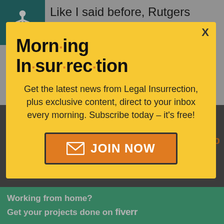[Figure (screenshot): Background webpage with accessibility icon and comment text: 'Like I said before, Rutgers should be looking for a new econ prof, IMHO. Beclowning yourself, then doubling down. Well, perhaps that is what']
[Figure (infographic): Morning Insurrection modal popup with yellow background. Title: 'Morn·ing In·sur·rec·tion'. Body text: 'Get the latest news from Legal Insurrection, plus exclusive content, direct to your inbox every morning. Subscribe today – it's free!' Orange JOIN NOW button with envelope icon. X close button top right.]
I wonder what he final bill was, including that $80 bottle of wine? And –
[Figure (infographic): Green banner advertisement: 'Working from home? Get your projects done on fiverr']